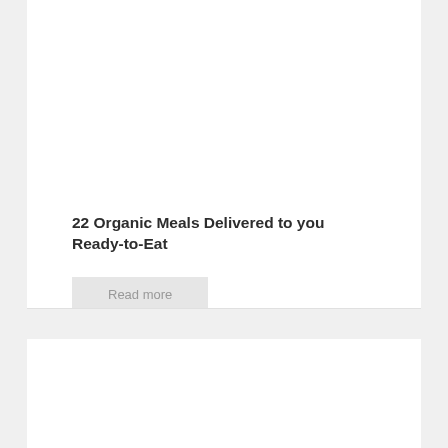22 Organic Meals Delivered to you Ready-to-Eat
Read more